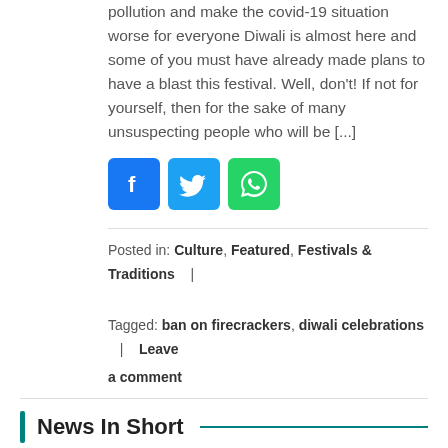pollution and make the covid-19 situation worse for everyone Diwali is almost here and some of you must have already made plans to have a blast this festival. Well, don't! If not for yourself, then for the sake of many unsuspecting people who will be [...]
[Figure (infographic): Three social media share buttons: Facebook (blue), Twitter (light blue), WhatsApp (green)]
Posted in: Culture, Featured, Festivals & Traditions |
Tagged: ban on firecrackers, diwali celebrations | Leave a comment
News In Short
CM Uddhav Thackeray Says No To Centre's Plans For Detention